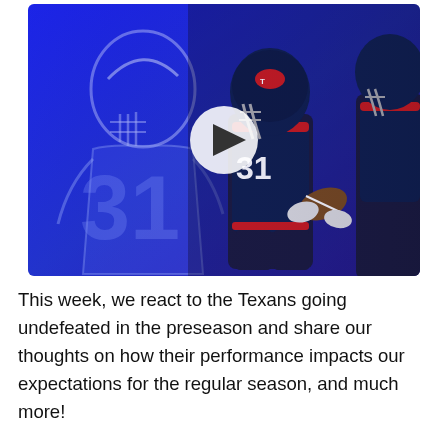[Figure (photo): Video thumbnail showing Houston Texans players in action. Left half has a blue-tinted ghosted player wearing jersey number 31. Right half shows real game action with players in navy/red Texans uniforms, jersey number 31 prominently visible, catching a football. A white circular play button is centered on the image.]
This week, we react to the Texans going undefeated in the preseason and share our thoughts on how their performance impacts our expectations for the regular season, and much more!